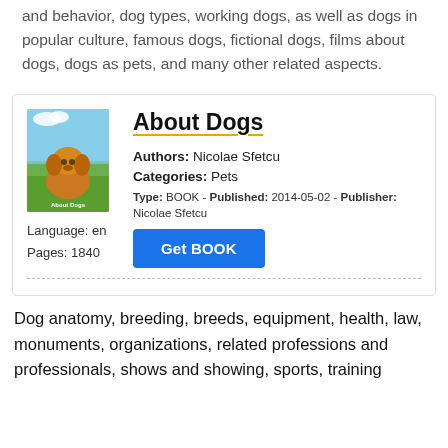and behavior, dog types, working dogs, as well as dogs in popular culture, famous dogs, fictional dogs, films about dogs, dogs as pets, and many other related aspects.
[Figure (illustration): Book cover of 'About Dogs' showing a golden puppy sitting on grass with a blue sky background]
About Dogs
Authors: Nicolae Sfetcu
Categories: Pets
Type: BOOK - Published: 2014-05-02 - Publisher: Nicolae Sfetcu
Get BOOK
Language: en
Pages: 1840
Dog anatomy, breeding, breeds, equipment, health, law, monuments, organizations, related professions and professionals, shows and showing, sports, training